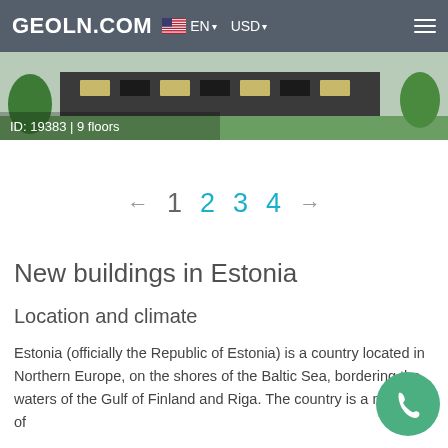GEOLN.COM  EN  USD
[Figure (photo): Exterior photo of a modern low-rise building with trees and lawn. Overlay text: ID: 19383 | 9 floors]
ID: 19383 | 9 floors
← 1 2 3 4 →
New buildings in Estonia
Location and climate
Estonia (officially the Republic of Estonia) is a country located in Northern Europe, on the shores of the Baltic Sea, bordering the waters of the Gulf of Finland and Riga. The country is a member of